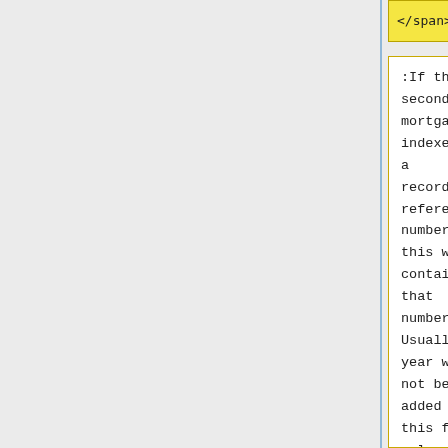</span></h3>
:If the second mortgage is indexed by a recorder's reference number, this will contain that number. Usually the year will not be added to this field unless there is a regional
:If the second mortgage is indexed by a recorder's reference number, this will contain that number. Usually the year will not be added to this field unless there is a regional